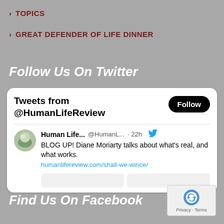TOPICS
GREAT DEFENDER OF LIFE DINNER
Follow Us On Twitter
[Figure (screenshot): Embedded Twitter widget showing tweets from @HumanLifeReview with a Follow button and a tweet by Human Life... @HumanL... 22h: BLOG UP! Diane Moriarty talks about what's real, and what works. humanlifereview.com/shall-we-wince/]
Find Us On Facebook
[Figure (logo): reCAPTCHA badge with Privacy and Terms text]